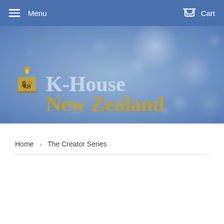Menu   Cart
[Figure (illustration): K-House New Zealand website banner with bokeh blue background and logo showing 'K-House New Zealand' text in silver and gold]
Home › The Creator Series